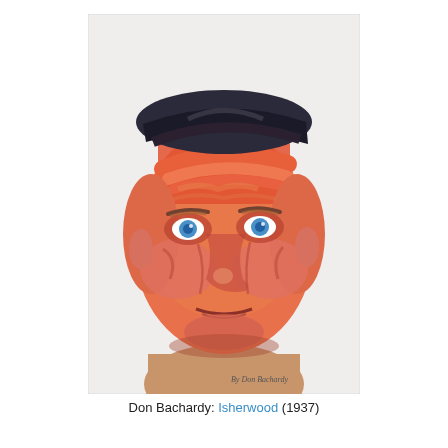[Figure (illustration): A painted portrait of a middle-aged man with dark hair, blue eyes, and a ruddy complexion rendered in expressive orange-red brush strokes. The painting is by Don Bachardy, titled 'Isherwood' (1937). White border around the image with 'By Don Bachardy' text in lower right.]
Don Bachardy: Isherwood (1937)